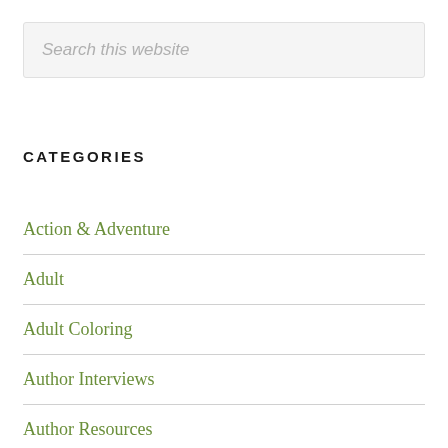Search this website
CATEGORIES
Action & Adventure
Adult
Adult Coloring
Author Interviews
Author Resources
Business
Children